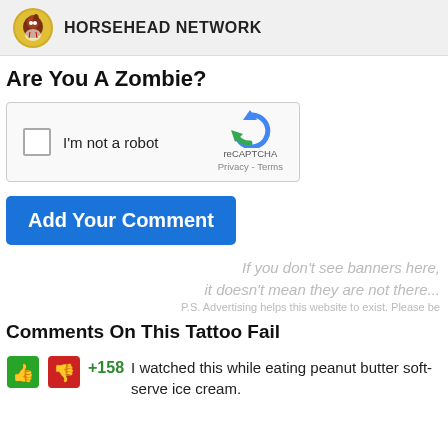HORSEHEAD NETWORK
Are You A Zombie?
[Figure (other): reCAPTCHA widget with checkbox labeled 'I'm not a robot' and reCAPTCHA logo with Privacy and Terms links]
Add Your Comment
If you don't see banners here, it doesn't mean they are not there... P.S. Advertising helps this website to exist. Please be
Comments On This Tattoo Fail
+158  I watched this while eating peanut butter soft-serve ice cream.